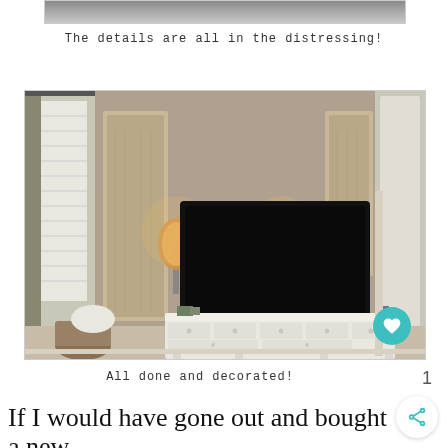[Figure (photo): Partial top strip of a photo showing a distressed furniture piece]
The details are all in the distressing!
[Figure (photo): Bedroom photo showing a white dresser with a large flat-screen TV on top, flanked by two lamps and decorative wall panels on a taupe wall. A basket and pillow sit in the corner near a window with blinds.]
All done and decorated!
If I would have gone out and bought a new